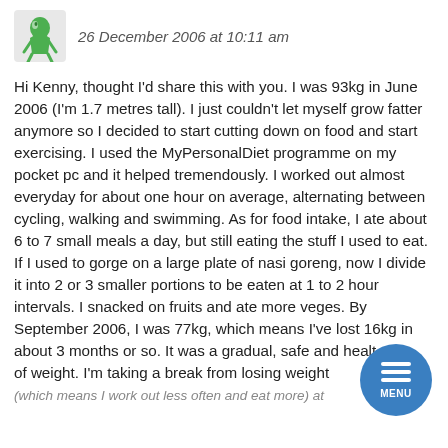26 December 2006 at 10:11 am
Hi Kenny, thought I'd share this with you. I was 93kg in June 2006 (I'm 1.7 metres tall). I just couldn't let myself grow fatter anymore so I decided to start cutting down on food and start exercising. I used the MyPersonalDiet programme on my pocket pc and it helped tremendously. I worked out almost everyday for about one hour on average, alternating between cycling, walking and swimming. As for food intake, I ate about 6 to 7 small meals a day, but still eating the stuff I used to eat. If I used to gorge on a large plate of nasi goreng, now I divide it into 2 or 3 smaller portions to be eaten at 1 to 2 hour intervals. I snacked on fruits and ate more veges. By September 2006, I was 77kg, which means I've lost 16kg in about 3 months or so. It was a gradual, safe and healthy loss of weight. I'm taking a break from losing weight (which means I work out less often and eat more) at